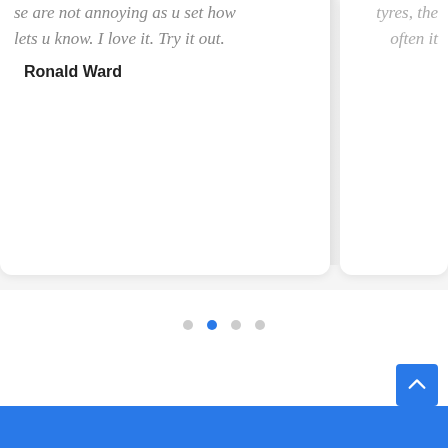se are not annoying as u set how lets u know. I love it. Try it out.
Ronald Ward
tyres, the often it
[Figure (other): Carousel pagination dots: four dots in a row, second dot is filled blue (active), others are grey]
[Figure (other): Back to top button: blue square with white upward chevron arrow]